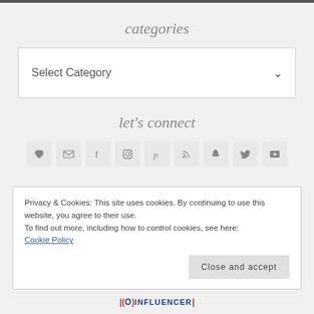categories
Select Category
let's connect
[Figure (other): Row of 9 social media icon buttons: heart, email, facebook, instagram, pinterest, rss, snapchat, twitter, youtube]
Privacy & Cookies: This site uses cookies. By continuing to use this website, you agree to their use.
To find out more, including how to control cookies, see here:
Cookie Policy
Close and accept
[Figure (logo): Influencer badge logo with text: |(O)INFLUENCER|]